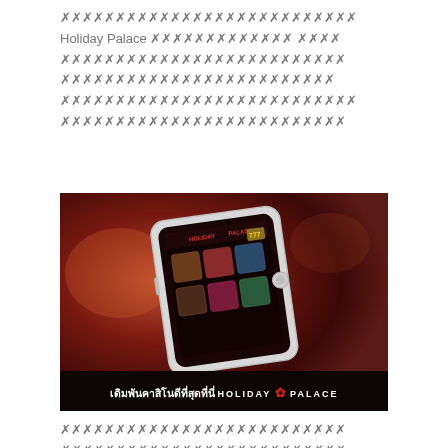✗✗✗✗✗✗✗✗✗✗✗✗✗✗✗✗✗✗✗✗✗✗✗✗✗✗✗ Holiday Palace ✗✗✗✗✗✗✗✗✗✗✗✗✗ ✗✗✗✗ ✗✗✗✗✗✗✗✗✗✗✗✗✗✗✗✗✗✗✗✗✗✗✗✗✗✗ ✗✗✗✗✗✗✗✗✗✗✗✗✗✗✗✗✗✗✗✗✗✗✗✗✗ ✗✗✗✗✗✗✗✗✗✗✗✗✗✗✗✗✗✗✗✗✗✗✗✗✗✗✗ ✗✗✗✗✗✗✗✗✗✗✗✗✗✗✗✗✗✗✗✗✗✗✗✗✗✗
[Figure (photo): Holiday Palace casino mobile app screenshot shown on a smartphone against a dark red/brown blurred background. Bottom banner reads 'เดิมพันคาสิโนดีที่สุดที่นี่ HOLIDAY PALACE' with red logo.]
✗✗✗✗✗✗✗✗✗✗✗✗✗✗✗✗✗✗✗✗✗✗✗✗✗✗ ✗✗✗✗✗✗✗✗✗✗✗✗✗✗✗✗✗✗✗✗✗✗✗✗✗✗